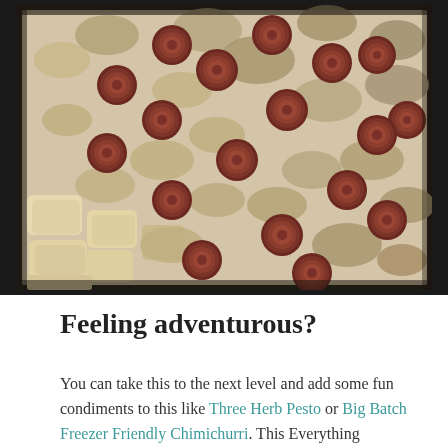[Figure (photo): Overhead photograph of sliced sausage rounds mixed with sautéed mushroom pieces and chunks of potato or bread on parchment paper in a baking pan.]
Feeling adventurous?
You can take this to the next level and add some fun condiments to this like Three Herb Pesto or Big Batch Freezer Friendly Chimichurri. This Everything